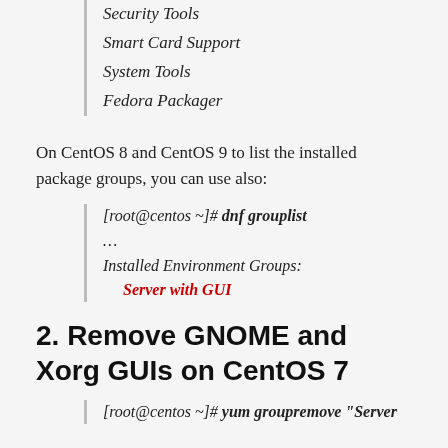Security Tools
Smart Card Support
System Tools
Fedora Packager
On CentOS 8 and CentOS 9 to list the installed package groups, you can use also:
[root@centos ~]# dnf grouplist
...
Installed Environment Groups:
   Server with GUI
2. Remove GNOME and Xorg GUIs on CentOS 7
[root@centos ~]# yum groupremove "Server